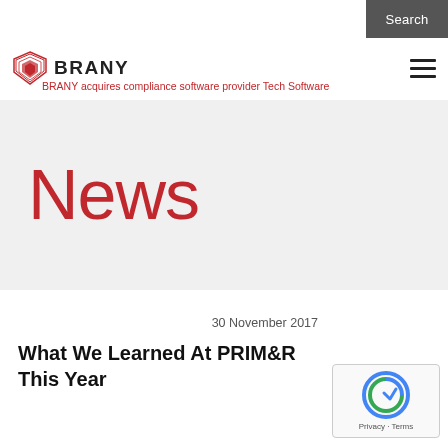Search
[Figure (logo): BRANY logo with shield icon and text BRANY]
BRANY acquires compliance software provider Tech Software
News
30 November 2017
What We Learned At PRIM&R This Year
[Figure (other): Google reCAPTCHA badge with Privacy and Terms links]